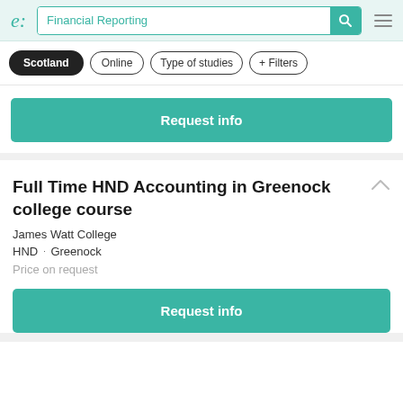e: Financial Reporting [search bar] [hamburger menu]
Scotland
Online
Type of studies
+ Filters
Request info
Full Time HND Accounting in Greenock college course
James Watt College
HND · Greenock
Price on request
Request info